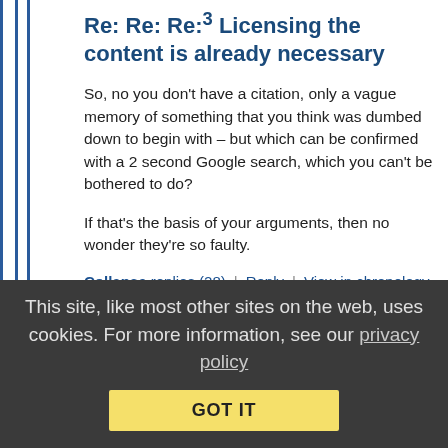Re: Re: Re:³ Licensing the content is already necessary
So, no you don't have a citation, only a vague memory of something that you think was dumbed down to begin with – but which can be confirmed with a 2 second Google search, which you can't be bothered to do?
If that's the basis of your arguments, then no wonder they're so faulty.
Collapse replies (28) | Reply | View in chronology
[Figure (infographic): Row of 5 reaction/action icons: lightbulb, laughing face, quote bubble, quote bubble variant, flag]
This site, like most other sites on the web, uses cookies. For more information, see our privacy policy
GOT IT